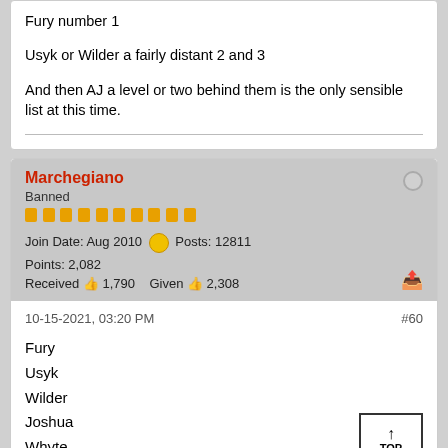Fury number 1

Usyk or Wilder a fairly distant 2 and 3

And then AJ a level or two behind them is the only sensible list at this time.
Marchegiano
Banned
Join Date: Aug 2010  Posts: 12811
Points: 2,082
Received 1,790  Given 2,308
10-15-2021, 03:20 PM
#60
Fury
Usyk
Wilder
Joshua
Whyte